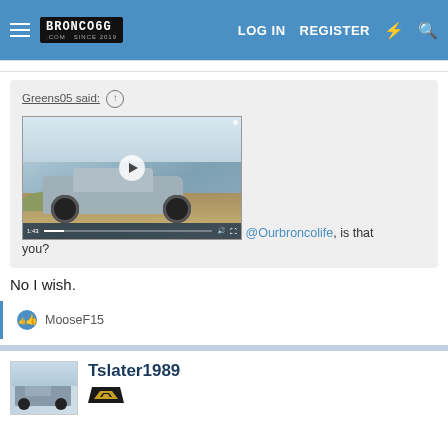Bronco6G.com — LOG IN   REGISTER
Greens05 said: ↑
[video thumbnail]
@Ourbroncolife, is that you?
No I wish.
👍 MooseF15
Tslater1989